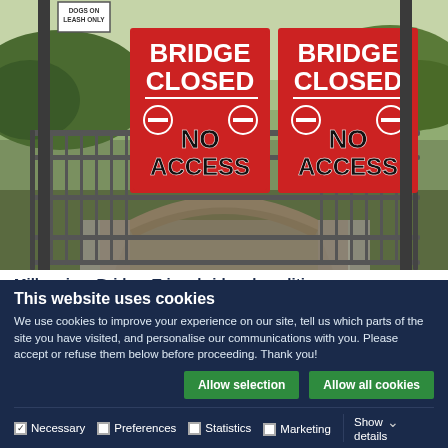[Figure (photo): Photo of a bridge entrance blocked by metal security fencing, with two large red signs reading 'BRIDGE CLOSED NO ACCESS'. A dogs on leash only sign is visible in the top left corner.]
Millennium Bridge, Trim - bridge demolition
August 18, 2022
Update 19th August 2022 The demolition works to remove the Millennium bridge are now complete. The contractor, JJ Duffy
This website uses cookies
We use cookies to improve your experience on our site, tell us which parts of the site you have visited, and personalise our communications with you. Please accept or refuse them below before proceeding. Thank you!
Allow selection
Allow all cookies
Necessary  Preferences  Statistics  Marketing  Show details